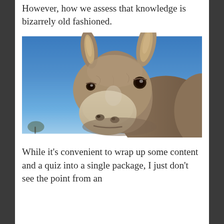However, how we assess that knowledge is bizarrely old fashioned.
[Figure (photo): Close-up photograph of a donkey looking directly at the camera from a low angle, against a bright blue sky with bare trees visible in the background. The donkey has large ears, grey-brown fur, and a lighter coloured muzzle.]
While it's convenient to wrap up some content and a quiz into a single package, I just don't see the point from an